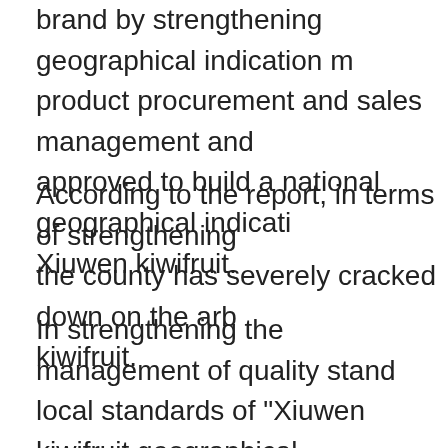brand by strengthening geographical indication management, product procurement and sales management and approved to build a national geographical indication Xiuwen kiwifruit.
According to the report, in terms of strengthening the county has severely cracked down on the arbitrary kiwifruit.
In strengthening the management of quality standards local standards of "Xiuwen kiwifruit geographical standards for cultivation management, fresh fruit market norms, and strengthen local sales leading protection " "Order" cooperation to guide growers